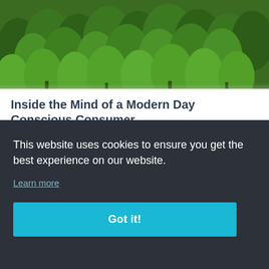[Figure (photo): Aerial view of a dense green conifer forest from above]
Inside the Mind of a Modern Day Conscious Consumer
This World Environment Day, we take a look at the questions mindful consumers ask when they look at a product and how
umer
This website uses cookies to ensure you get the best experience on our website.
Learn more
Got it!